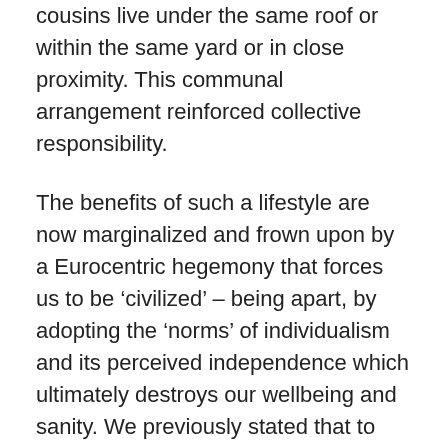cousins live under the same roof or within the same yard or in close proximity. This communal arrangement reinforced collective responsibility.
The benefits of such a lifestyle are now marginalized and frown upon by a Eurocentric hegemony that forces us to be ‘civilized’ – being apart, by adopting the ‘norms’ of individualism and its perceived independence which ultimately destroys our wellbeing and sanity. We previously stated that to attain sustainable and meaningful life changes we must seek a framework that addresses the vulnerable among us, and that our development actions must establish changes in civic engagement, social cohesion, community safety and improved healthy living standards. These community outcomes are pressing as the